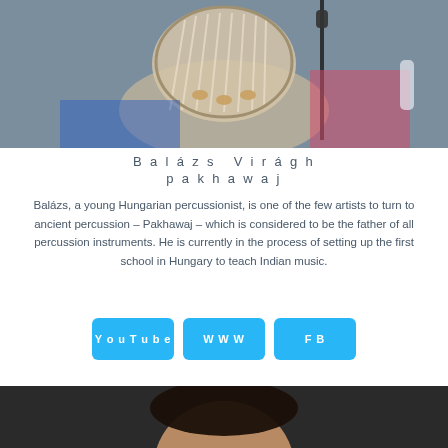[Figure (photo): Close-up photo of a pakhawaj (traditional Indian drum) with rope lacing, microphone stand visible, person in colorful clothing in background]
Balázs Virágh
pakhawaj
Balázs, a young Hungarian percussionist, is one of the few artists to turn to ancient percussion – Pakhawaj – which is considered to be the father of all percussion instruments. He is currently in the process of setting up the first school in Hungary to teach Indian music.
YouTube
WWW
FB
[Figure (photo): Partial photo showing the top of a person's head against a dark background]